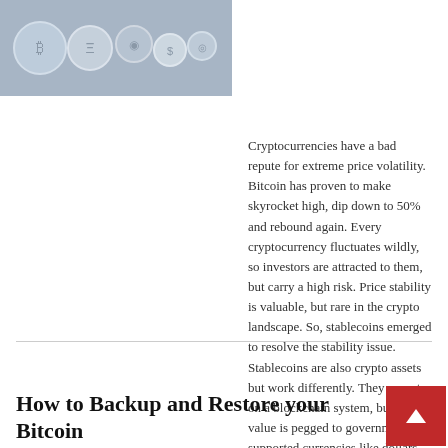[Figure (photo): Cryptocurrency-themed background image showing coins/tokens in muted gray-blue tones]
Cryptocurrencies have a bad repute for extreme price volatility. Bitcoin has proven to make skyrocket high, dip down to 50% and rebound again. Every cryptocurrency fluctuates wildly, so investors are attracted to them, but carry a high risk. Price stability is valuable, but rare in the crypto landscape. So, stablecoins emerged to resolve the stability issue. Stablecoins are also crypto assets but work differently. They operate on a blockchain system, but their value is pegged to government-supported currencies like dollars,...
How to Backup and Restore your Bitcoin